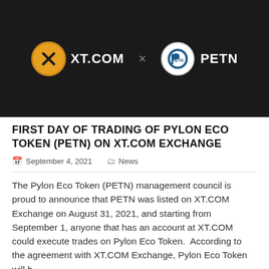[Figure (logo): Dark banner showing XT.COM logo (gold circle with X icon and XT.COM text) and PETN logo (white circle with stylized P icon and PETN text) connected by an X symbol on a dark background.]
FIRST DAY OF TRADING OF PYLON ECO TOKEN (PETN) ON XT.COM EXCHANGE
September 4, 2021   News
The Pylon Eco Token (PETN) management council is proud to announce that PETN was listed on XT.COM Exchange on August 31, 2021, and starting from September 1, anyone that has an account at XT.COM could execute trades on Pylon Eco Token.  According to the agreement with XT.COM Exchange, Pylon Eco Token will b…